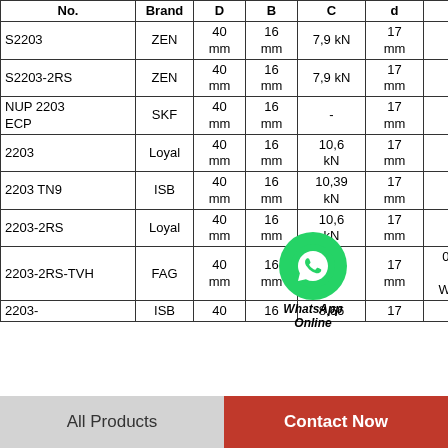| No. | Brand | D | B | C | d | m | e |
| --- | --- | --- | --- | --- | --- | --- | --- |
| S2203 | ZEN | 40 mm | 16 mm | 7,9 kN | 17 mm | - |  |
| S2203-2RS | ZEN | 40 mm | 16 mm | 7,9 kN | 17 mm | - |  |
| NUP 2203 ECP | SKF | 40 mm | 16 mm | - | 17 mm | - |  |
| 2203 | Loyal | 40 mm | 16 mm | 10,6 kN | 17 mm | - |  |
| 2203 TN9 | ISB | 40 mm | 16 mm | 10,39 kN | 17 mm | - |  |
| 2203-2RS | Loyal | 40 mm | 16 mm | 10,6 kN | 17 mm | - |  |
| 2203-2RS-TVH | FAG | 40 mm | 16 mm | - | 17 mm | 0,098 kg / Weight | 0, |
| 2203- | ISB | 40 | 16 | 8,66 | 17 |  |  |
All Products
Contact Now